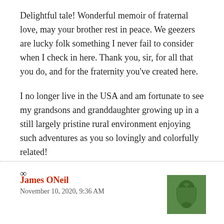Delightful tale! Wonderful memoir of fraternal love, may your brother rest in peace. We geezers are lucky folk something I never fail to consider when I check in here. Thank you, sir, for all that you do, and for the fraternity you've created here.
I no longer live in the USA and am fortunate to see my grandsons and granddaughter growing up in a still largely pristine rural environment enjoying such adventures as you so lovingly and colorfully related!
∞
James ONeil
November 10, 2020, 9:36 AM
Good on yer & your brother Gerard!